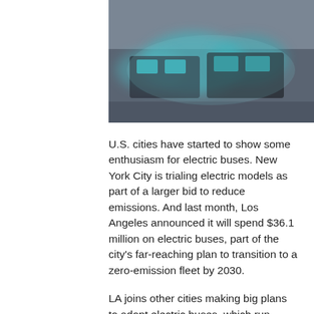[Figure (photo): Blurred photo of electric buses, showing teal/turquoise and dark colored buses, likely taken at a bus depot or street.]
U.S. cities have started to show some enthusiasm for electric buses. New York City is trialing electric models as part of a larger bid to reduce emissions. And last month, Los Angeles announced it will spend $36.1 million on electric buses, part of the city's far-reaching plan to transition to a zero-emission fleet by 2030.
LA joins other cities making big plans to adopt electric buses, which run quieter and cleaner and reduce urban carbon emissions, including London...